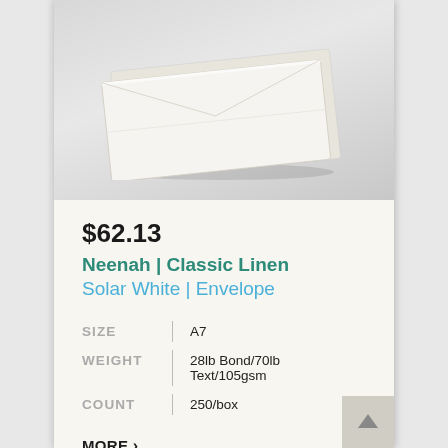[Figure (photo): White linen envelope (A7 size) photographed at a slight angle on a light grey background, showing the front face of the envelope tilted slightly.]
$62.13
Neenah | Classic Linen Solar White | Envelope
|  |  |  |
| --- | --- | --- |
| SIZE | | | A7 |
| WEIGHT | | | 28lb Bond/70lb Text/105gsm |
| COUNT | | | 250/box |
MORE ›